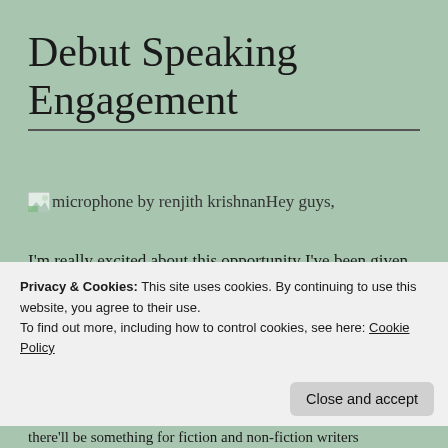Debut Speaking Engagement
[Figure (photo): Broken image placeholder labeled 'microphone by renjith krishnan']
Hey guys,
I'm really excited about this opportunity I've been given by the St. Louis Writers Guild to talk about one of my passions, National Novel Writing Month (NaNoWriMo).  For those of you who have known me for a while, you know
Privacy & Cookies: This site uses cookies. By continuing to use this website, you agree to their use.
To find out more, including how to control cookies, see here: Cookie Policy
there'll be something for fiction and non-fiction writers